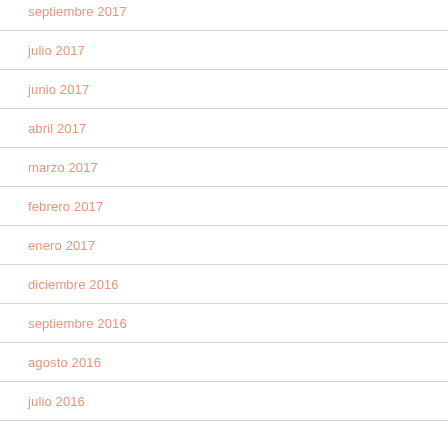septiembre 2017
julio 2017
junio 2017
abril 2017
marzo 2017
febrero 2017
enero 2017
diciembre 2016
septiembre 2016
agosto 2016
julio 2016